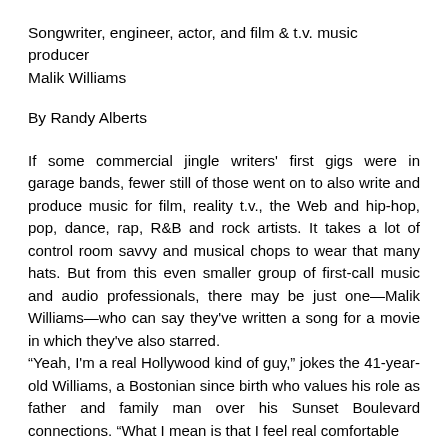Songwriter, engineer, actor, and film & t.v. music producer Malik Williams
By Randy Alberts
If some commercial jingle writers' first gigs were in garage bands, fewer still of those went on to also write and produce music for film, reality t.v., the Web and hip-hop, pop, dance, rap, R&B and rock artists. It takes a lot of control room savvy and musical chops to wear that many hats. But from this even smaller group of first-call music and audio professionals, there may be just one—Malik Williams—who can say they've written a song for a movie in which they've also starred.
“Yeah, I'm a real Hollywood kind of guy,” jokes the 41-year-old Williams, a Bostonian since birth who values his role as father and family man over his Sunset Boulevard connections. “What I mean is that I feel real comfortable